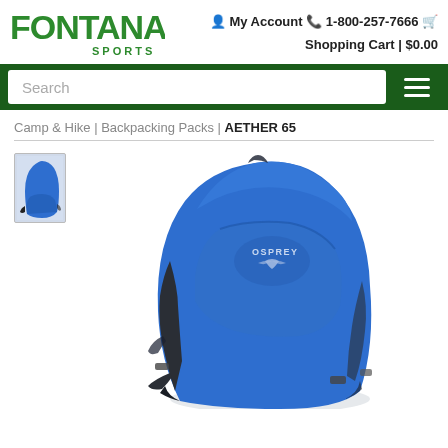[Figure (logo): Fontana Sports logo - green text with FONTANA in large bold letters and SPORTS below]
My Account
1-800-257-7666
Shopping Cart | $0.00
[Figure (screenshot): Green navigation bar with a white search box labeled 'Search' and a hamburger menu icon on the right]
Camp & Hike | Backpacking Packs | AETHER 65
[Figure (photo): Blue Osprey Aether 65 backpacking pack shown from the front. A small thumbnail of the same pack appears in the top-left corner. The pack is royal blue with dark grey/charcoal shoulder straps and hardware. The Osprey logo and eagle graphic appear on the front panel.]